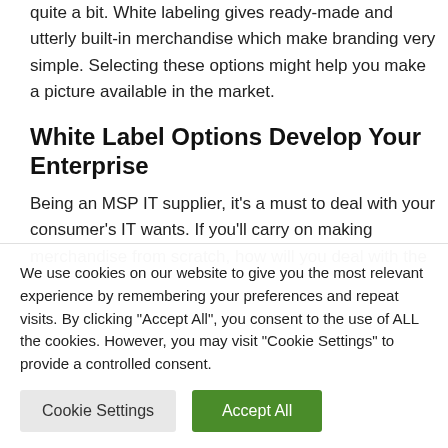quite a bit. White labeling gives ready-made and utterly built-in merchandise which make branding very simple. Selecting these options might help you make a picture available in the market.
White Label Options Develop Your Enterprise
Being an MSP IT supplier, it’s a must to deal with your consumer’s IT wants. If you’ll carry on making merchandise from scratch, how will you deal with the
We use cookies on our website to give you the most relevant experience by remembering your preferences and repeat visits. By clicking “Accept All”, you consent to the use of ALL the cookies. However, you may visit “Cookie Settings” to provide a controlled consent.